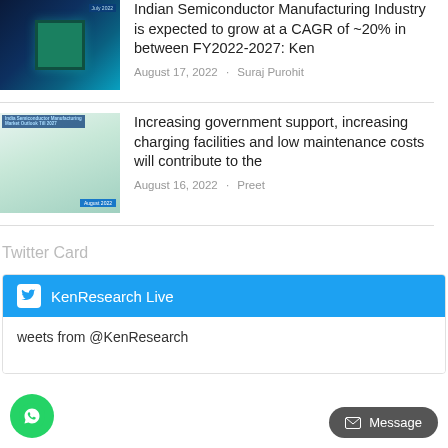[Figure (photo): Thumbnail of semiconductor chip report cover with blue circuit board background]
Indian Semiconductor Manufacturing Industry is expected to grow at a CAGR of ~20% in between FY2022-2027: Ken
August 17, 2022 · Suraj Purohit
[Figure (photo): Thumbnail of EV charging report cover with car charging plug]
Increasing government support, increasing charging facilities and low maintenance costs will contribute to the
August 16, 2022 · Preet
Twitter Card
KenResearch Live
weets from @KenResearch